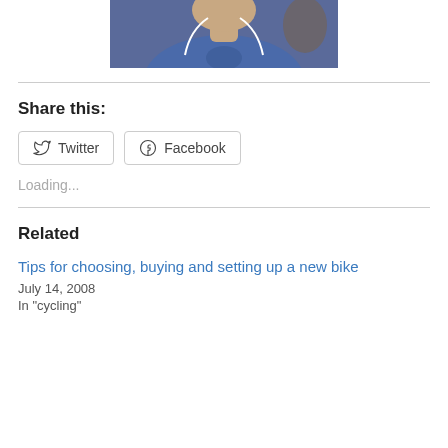[Figure (photo): Photo of a person wearing a blue t-shirt with earbuds/earphones, cropped to show upper body and face area, dark background]
Share this:
[Figure (other): Twitter and Facebook share buttons]
Loading...
Related
Tips for choosing, buying and setting up a new bike
July 14, 2008
In "cycling"